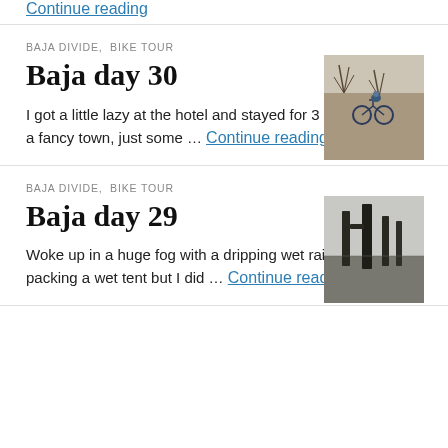Continue reading
BAJA DIVIDE, BIKE TOUR
Baja day 30
[Figure (photo): Thumbnail photo of a bicycle against dry shrubs/trees in Baja]
I got a little lazy at the hotel and stayed for 3 nights. It's not a fancy town, just some … Continue reading
BAJA DIVIDE, BIKE TOUR
Baja day 29
[Figure (photo): Thumbnail photo of dark vertical cacti shapes silhouetted against a pale sky]
Woke up in a huge fog with a dripping wet rainfly. I hate packing a wet tent but I did … Continue reading